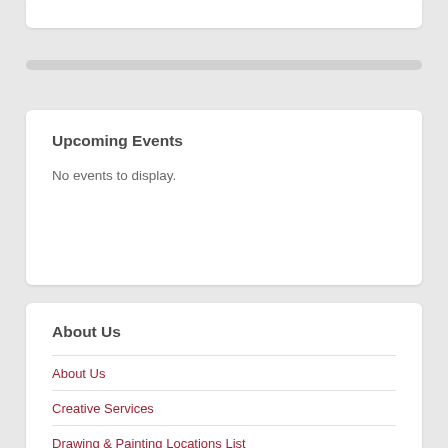Upcoming Events
No events to display.
About Us
About Us
Creative Services
Drawing & Painting Locations List
Frequently Asked Questions (FAQ)
Press
Sponsors